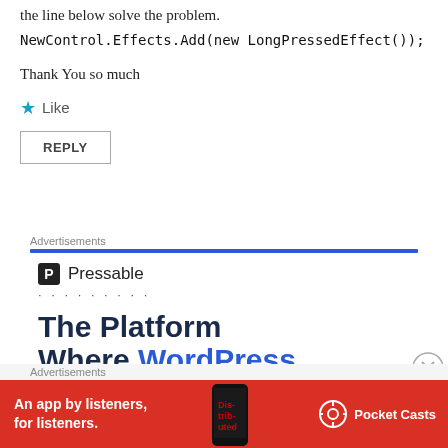the line below solve the problem.
NewControl.Effects.Add(new LongPressedEffect());
Thank You so much
Like
REPLY
Advertisements
[Figure (logo): Pressable logo with P icon and dots]
The Platform
Where WordPress
Advertisements
[Figure (infographic): Pocket Casts red banner ad: An app by listeners, for listeners. Shows phone with Distributed text and Pocket Casts logo.]